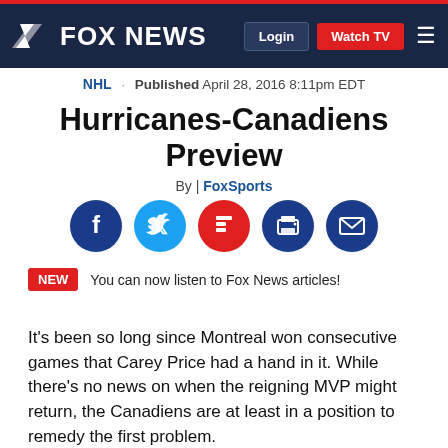FOX NEWS — Login | Watch TV
NHL · Published April 28, 2016 8:11pm EDT
Hurricanes-Canadiens Preview
By | FoxSports
[Figure (infographic): Social sharing icons: Facebook, Twitter, Flipboard, Print, Email]
NEW You can now listen to Fox News articles!
It's been so long since Montreal won consecutive games that Carey Price had a hand in it. While there's no news on when the reigning MVP might return, the Canadiens are at least in a position to remedy the first problem.